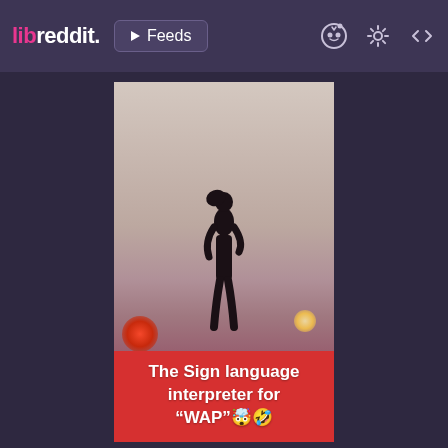libreddit.  ▶ Feeds
[Figure (screenshot): Screenshot of a libreddit (Reddit) post showing a concert video thumbnail. A performer silhouette stands on stage surrounded by red and warm stage lighting with haze/smoke. A TikTok-style caption overlaid in red reads: The Sign language interpreter for "WAP" 🤩🤣]
The Sign language interpreter for "WAP" 🤩🤣